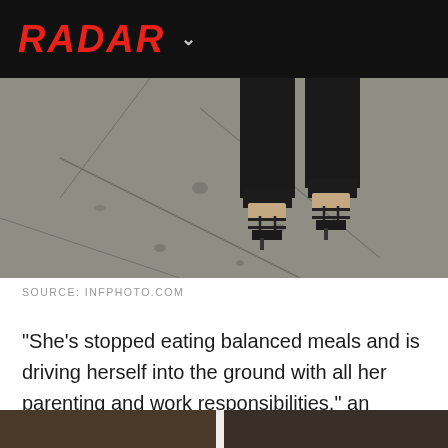RADAR
[Figure (photo): Close-up photo of a person's legs wearing dark jeans and strappy high-heel sandals, standing on a cracked concrete sidewalk]
SOURCE: INFPHOTO.COM
"She's stopped eating balanced meals and is driving herself into the ground with all her parenting and work responsibilities," an insider tells RadarOnline.com.
[Figure (photo): Partial bottom preview of another photo, showing a dark interior scene]